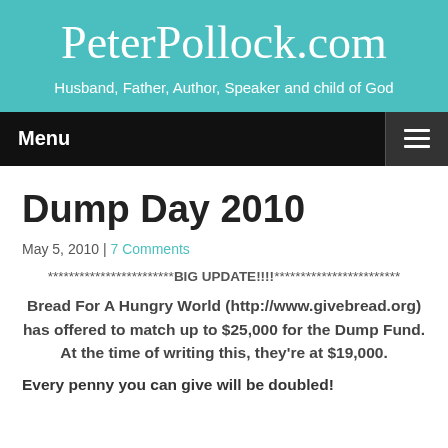PeterPollock.com
Husband, Father, Author, Speaker and child of God
Dump Day 2010
May 5, 2010 | 7 Comments
************************BIG UPDATE!!!!************************
Bread For A Hungry World (http://www.givebread.org) has offered to match up to $25,000 for the Dump Fund. At the time of writing this, they're at $19,000.
Every penny you can give will be doubled!